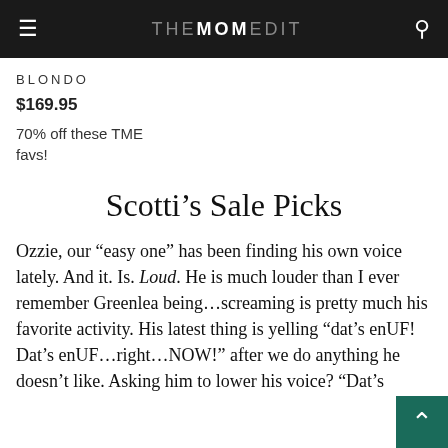THE MOM EDIT
BLONDO
$169.95
70% off these TME favs!
Scotti’s Sale Picks
Ozzie, our “easy one” has been finding his own voice lately. And it. Is. Loud. He is much louder than I ever remember Greenlea being…screaming is pretty much his favorite activity. His latest thing is yelling “dat’s enUF! Dat’s enUF…right…NOW!” after we do anything he doesn’t like. Asking him to lower his voice? “Dat’s